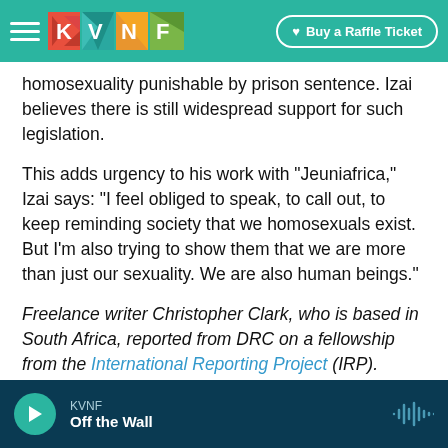KVNF | Buy a Raffle Ticket
homosexuality punishable by prison sentence. Izai believes there is still widespread support for such legislation.
This adds urgency to his work with "Jeuniafrica," Izai says: "I feel obliged to speak, to call out, to keep reminding society that we homosexuals exist. But I'm also trying to show them that we are more than just our sexuality. We are also human beings."
Freelance writer Christopher Clark, who is based in South Africa, reported from DRC on a fellowship from the International Reporting Project (IRP).
KVNF | Off the Wall